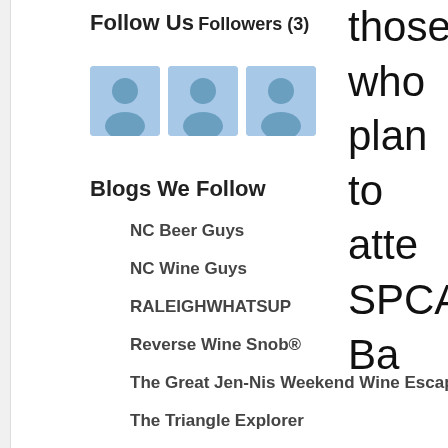Follow Us
Followers (3)
[Figure (illustration): Three user avatar icons with blue background representing followers]
Blogs We Follow
NC Beer Guys
NC Wine Guys
RALEIGHWHATSUP
Reverse Wine Snob®
The Great Jen-Nis Weekend Wine Escapades
The Triangle Explorer
The Wandering Sheppard
Triangle Food Blog
those who plan to atte SPCA's Ba